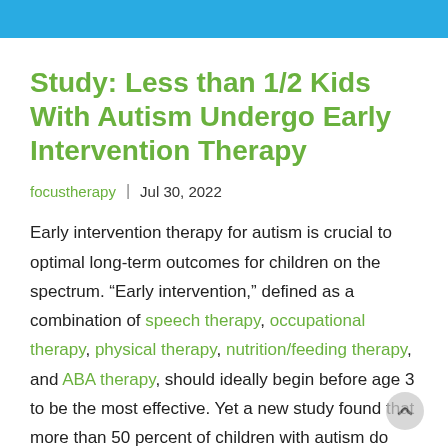Study: Less than 1/2 Kids With Autism Undergo Early Intervention Therapy
focustherapy  |  Jul 30, 2022
Early intervention therapy for autism is crucial to optimal long-term outcomes for children on the spectrum. “Early intervention,” defined as a combination of speech therapy, occupational therapy, physical therapy, nutrition/feeding therapy, and ABA therapy, should ideally begin before age 3 to be the most effective. Yet a new study found that more than 50 percent of children with autism do NOT get the critical early intervention that has been proven to lay